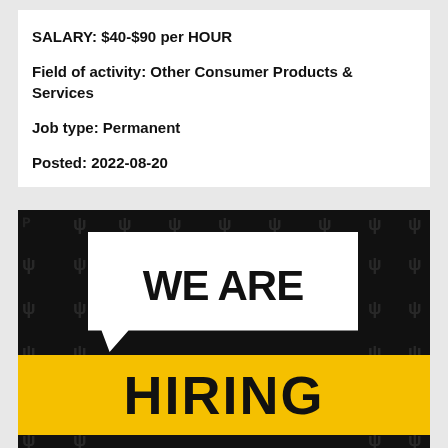SALARY: $40-$90 per HOUR
Field of activity: Other Consumer Products & Services
Job type: Permanent
Posted: 2022-08-20
[Figure (illustration): We Are Hiring promotional image with white speech bubble showing 'WE ARE' text and yellow banner showing 'HIRING' text, on dark background with repeating logo pattern]